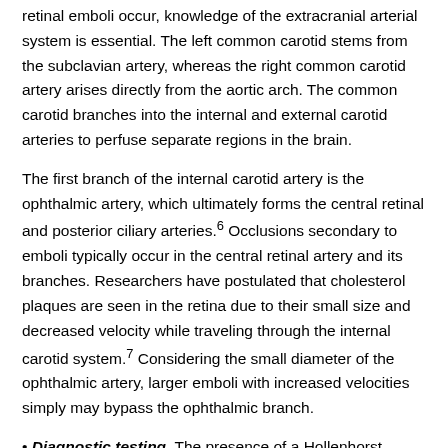retinal emboli occur, knowledge of the extracranial arterial system is essential. The left common carotid stems from the subclavian artery, whereas the right common carotid artery arises directly from the aortic arch. The common carotid branches into the internal and external carotid arteries to perfuse separate regions in the brain.
The first branch of the internal carotid artery is the ophthalmic artery, which ultimately forms the central retinal and posterior ciliary arteries.6 Occlusions secondary to emboli typically occur in the central retinal artery and its branches. Researchers have postulated that cholesterol plaques are seen in the retina due to their small size and decreased velocity while traveling through the internal carotid system.7 Considering the small diameter of the ophthalmic artery, larger emboli with increased velocities simply may bypass the ophthalmic branch.
• Diagnostic testing. The presence of a Hollenhorst plaque on funduscopy typically merits further evaluation to rule out underlying systemic vascular disease. Minimal baseline work-up for ophthalmic providers consists of a lipid panel, carotid auscultation and carotid duplex. Transesophageal echocardiography and computed tomographic angiography (CTA) also may be necessary for further evaluation, particularly if the initial work-up is negative or the findings